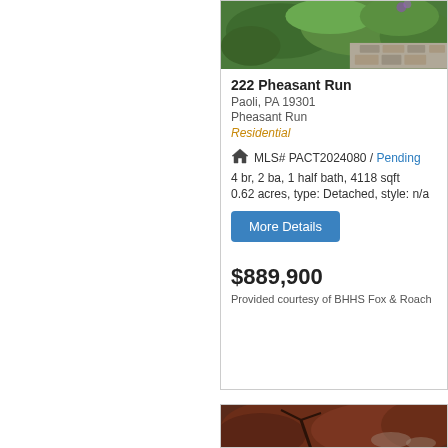[Figure (photo): Outdoor landscaping photo with green foliage and stone wall, partially visible at top]
222 Pheasant Run
Paoli, PA 19301
Pheasant Run
Residential
MLS# PACT2024080 / Pending
4 br, 2 ba, 1 half bath, 4118 sqft
0.62 acres, type: Detached, style: n/a
More Details
$889,900
Provided courtesy of BHHS Fox & Roach
[Figure (photo): Outdoor photo with red/maroon foliage tree, partially visible at bottom]